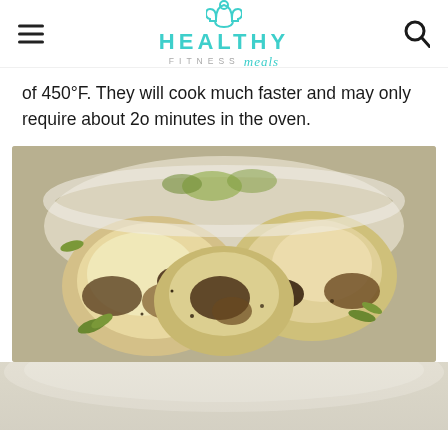HEALTHY FITNESS meals
of 450°F. They will cook much faster and may only require about 2o minutes in the oven.
[Figure (photo): Close-up photo of roasted cauliflower florets with herbs, golden-brown edges, served in a white dish]
[Figure (photo): Bottom partial photo showing white/cream colored surface, continuation of food imagery]